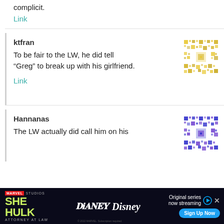complicit.
Link
ktfran
[Figure (other): Yellow decorative pixel/QR-style avatar icon]
To be fair to the LW, he did tell “Greg” to break up with his girlfriend.
Link
Hannanas
[Figure (other): Blue and purple decorative pixel/QR-style avatar icon]
The LW actually did call him on his
[Figure (other): Advertisement banner for She-Hulk Attorney at Law on Disney+]